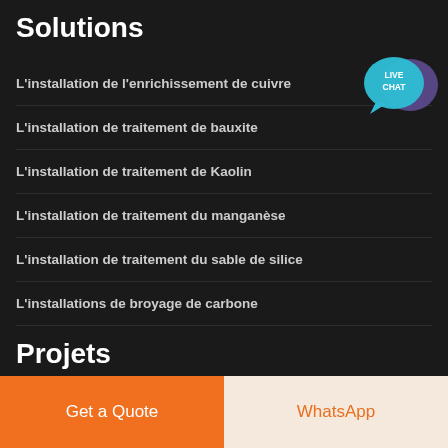Solutions
[Figure (illustration): Live Chat widget with teal speech bubble and dark purple speech bubble overlap, text LIVE CHAT in white]
L'installation de l'enrichissement de cuivre
L'installation de traitement de bauxite
L'installation de traitement de Kaolin
L'installation de traitement du manganèse
L'installation de traitement du sable de silice
L'installations de broyage de carbone
Projets
Get a Quote
WhatsApp